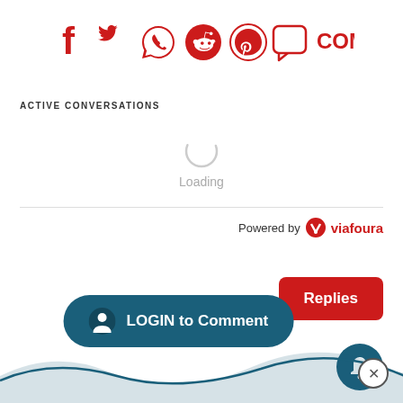[Figure (screenshot): Social media share icons row: Facebook (f), Twitter (bird), WhatsApp (chat bubble with phone), Reddit (alien), Pinterest (P), Comments (chat bubble icon) followed by COMMENTS text — all in red]
ACTIVE CONVERSATIONS
[Figure (infographic): Loading spinner circle with 'Loading' text below it in grey]
Powered by viafoura (with viafoura logo in red)
[Figure (screenshot): A red 'Replies' button (rounded rectangle) in upper right area, a dark teal 'LOGIN to Comment' button with user icon on left, and a dark teal circular bell notification icon below the Replies button]
[Figure (illustration): Dark blue wavy decorative line at bottom of page with a circular X/close button on the right side]